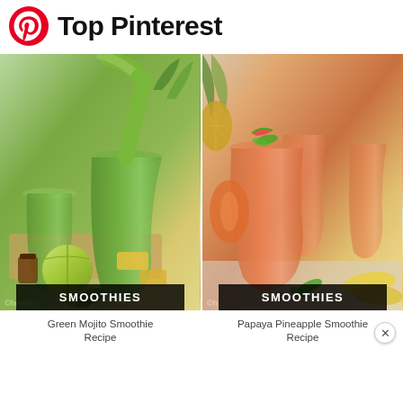Top Pinterest
[Figure (photo): Green Mojito Smoothie with pineapple, lime, herbs on a wooden board being poured from a blender, labeled SMOOTHIES]
Green Mojito Smoothie Recipe
[Figure (photo): Papaya Pineapple Smoothie in orange-colored tall glasses garnished with mint and fruit, labeled SMOOTHIES]
Papaya Pineapple Smoothie Recipe